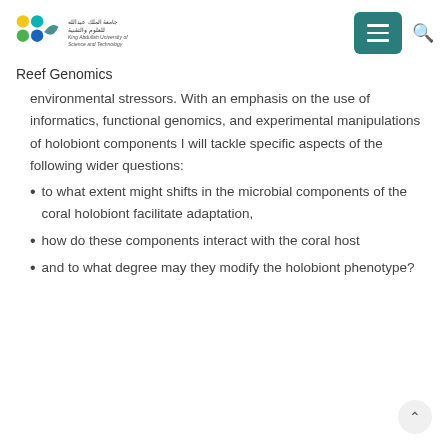King Abdullah University of Science and Technology — Reef Genomics
Reef Genomics
environmental stressors. With an emphasis on the use of informatics, functional genomics, and experimental manipulations of holobiont components I will tackle specific aspects of the following wider questions:
to what extent might shifts in the microbial components of the coral holobiont facilitate adaptation,
how do these components interact with the coral host
and to what degree may they modify the holobiont phenotype?